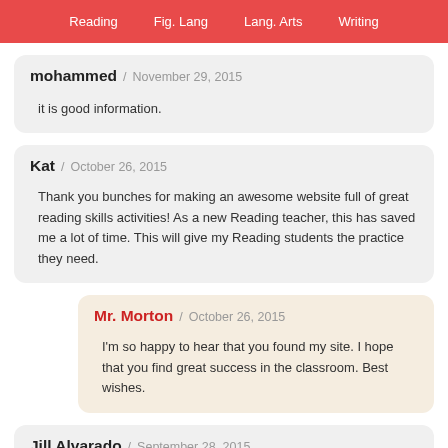Reading  Fig. Lang  Lang. Arts  Writing
mohammed / November 29, 2015

it is good information.
Kat / October 26, 2015

Thank you bunches for making an awesome website full of great reading skills activities! As a new Reading teacher, this has saved me a lot of time. This will give my Reading students the practice they need.
Mr. Morton / October 26, 2015

I'm so happy to hear that you found my site. I hope that you find great success in the classroom. Best wishes.
Jill Alvarado / September 28, 2015